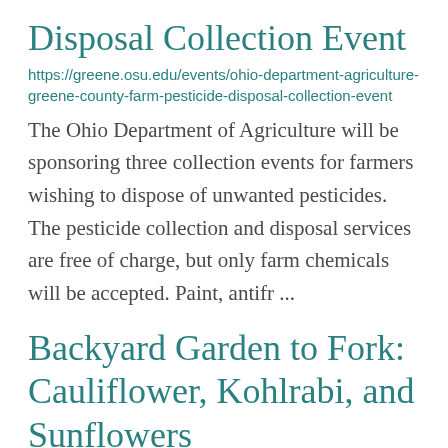Disposal Collection Event
https://greene.osu.edu/events/ohio-department-agriculture-greene-county-farm-pesticide-disposal-collection-event
The Ohio Department of Agriculture will be sponsoring three collection events for farmers wishing to dispose of unwanted pesticides. The pesticide collection and disposal services are free of charge, but only farm chemicals will be accepted. Paint, antifr ...
Backyard Garden to Fork: Cauliflower, Kohlrabi, and Sunflowers